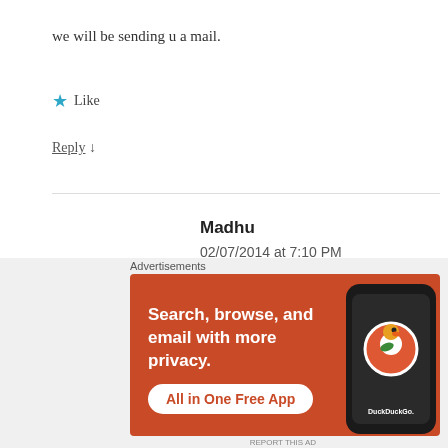we will be sending u a mail.
★ Like
Reply ↓
Madhu
02/07/2014 at 7:10 PM
Hi,
[Figure (screenshot): DuckDuckGo advertisement banner with text 'Search, browse, and email with more privacy. All in One Free App' on an orange background with a phone showing the DuckDuckGo logo]